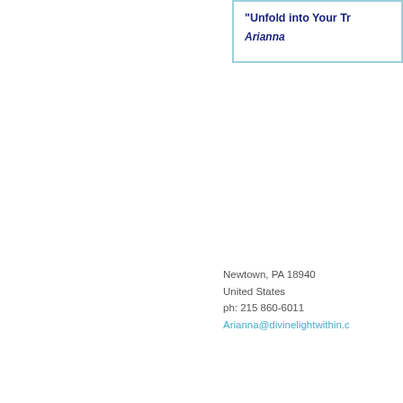"Unfold into Your Tr... Arianna
Newtown, PA 18940
United States
ph: 215 860-6011
Arianna@divinelightwithin.c...